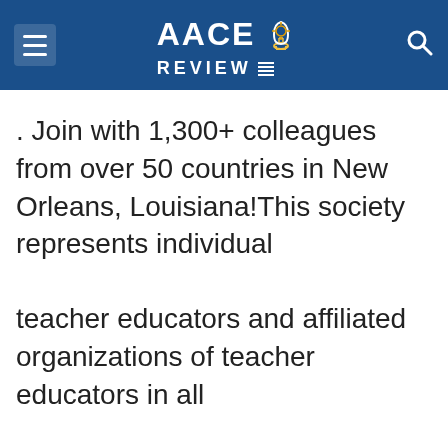[Figure (logo): AACE Review logo with gear/bulb icon on dark blue header bar with hamburger menu and search icon]
. Join with 1,300+ colleagues from over 50 countries in New Orleans, Louisiana!This society represents individual
teacher educators and affiliated organizations of teacher educators in all
This website uses cookies to improve your experience. We'll assume you're ok with this, but you can opt-out if you wish.
Accept  Reject  Read More